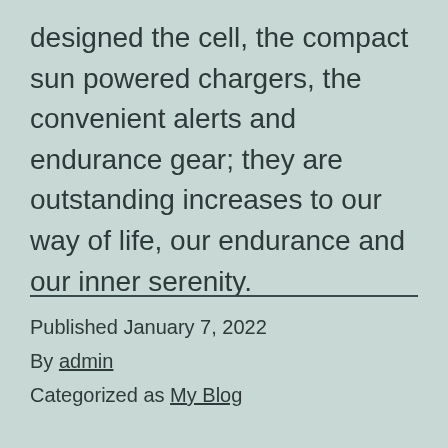designed the cell, the compact sun powered chargers, the convenient alerts and endurance gear; they are outstanding increases to our way of life, our endurance and our inner serenity.
Published January 7, 2022
By admin
Categorized as My Blog